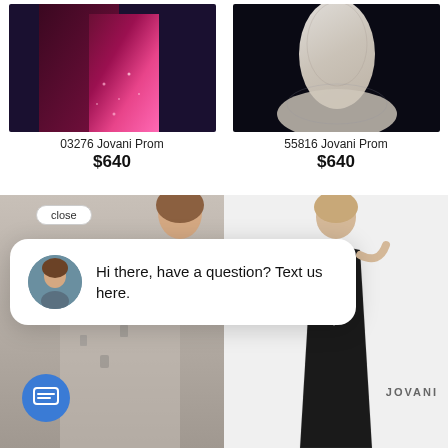[Figure (photo): Pink and dark red prom dress on model]
03276 Jovani Prom
$640
[Figure (photo): White/silver embellished prom dress on model]
55816 Jovani Prom
$640
[Figure (screenshot): Chat popup overlay with close button, avatar, message 'Hi there, have a question? Text us here.' and blue chat icon button. Background shows partial prom dress images.]